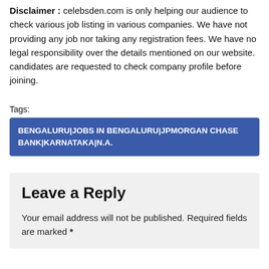Disclaimer : celebsden.com is only helping our audience to check various job listing in various companies. We have not providing any job nor taking any registration fees. We have no legal responsibility over the details mentioned on our website. candidates are requested to check company profile before joining.
Tags:
BENGALURU|JOBS IN BENGALURU|JPMORGAN CHASE BANK|KARNATAKA|N.A.
Leave a Reply
Your email address will not be published. Required fields are marked *